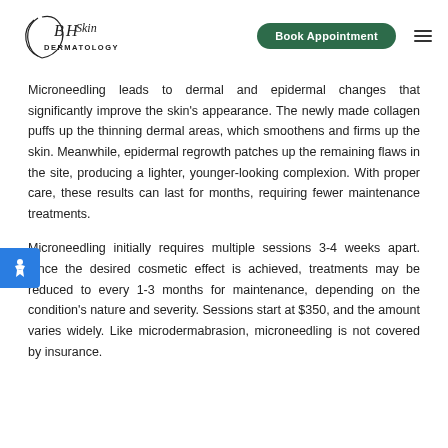BH Skin Dermatology — Book Appointment
Microneedling leads to dermal and epidermal changes that significantly improve the skin's appearance. The newly made collagen puffs up the thinning dermal areas, which smoothens and firms up the skin. Meanwhile, epidermal regrowth patches up the remaining flaws in the site, producing a lighter, younger-looking complexion. With proper care, these results can last for months, requiring fewer maintenance treatments.
Microneedling initially requires multiple sessions 3-4 weeks apart. Once the desired cosmetic effect is achieved, treatments may be reduced to every 1-3 months for maintenance, depending on the condition's nature and severity. Sessions start at $350, and the amount varies widely. Like microdermabrasion, microneedling is not covered by insurance.